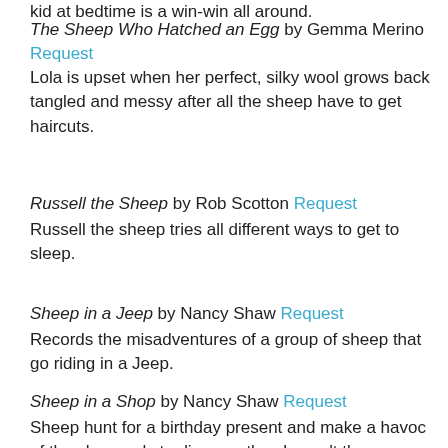kid at bedtime is a win-win all around.
The Sheep Who Hatched an Egg by Gemma Merino Request
Lola is upset when her perfect, silky wool grows back tangled and messy after all the sheep have to get haircuts.
Russell the Sheep by Rob Scotton Request
Russell the sheep tries all different ways to get to sleep.
Sheep in a Jeep by Nancy Shaw Request
Records the misadventures of a group of sheep that go riding in a Jeep.
Sheep in a Shop by Nancy Shaw Request
Sheep hunt for a birthday present and make a havoc of the shop, only to discover they haven't the money to pay for things.